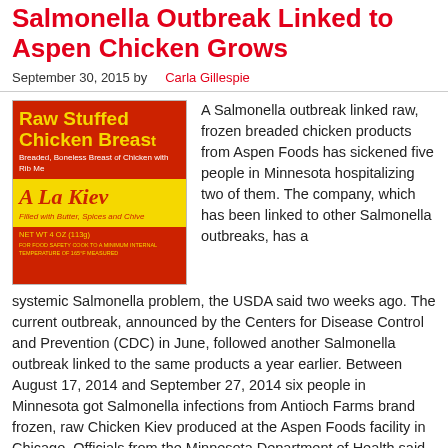Salmonella Outbreak Linked to Aspen Chicken Grows
September 30, 2015 by Carla Gillespie
[Figure (photo): Product label for Raw Stuffed Chicken Breast A La Kiev, filled with Butter, Spices and Chives, NET WT 4 OZ (113g), red and yellow packaging]
A Salmonella outbreak linked raw, frozen breaded chicken products from Aspen Foods has sickened five people in Minnesota hospitalizing two of them. The company, which has been linked to other Salmonella outbreaks, has a systemic Salmonella problem, the USDA said two weeks ago. The current outbreak, announced by the Centers for Disease Control and Prevention (CDC) in June, followed another Salmonella outbreak linked to the same products a year earlier. Between August 17, 2014 and September 27, 2014 six people in Minnesota got Salmonella infections from Antioch Farms brand frozen, raw Chicken Kiev produced at the Aspen Foods facility in Chicago. Officials from the Minnesota Department of Health said that during interviews with case patients they learned that many of them followed the...